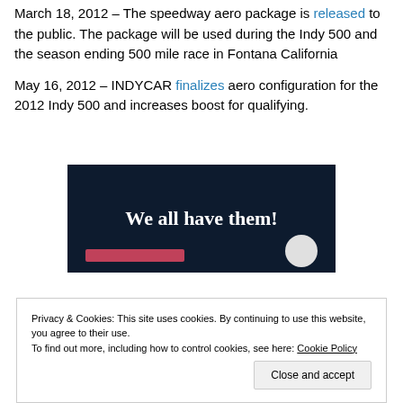March 18, 2012 – The speedway aero package is released to the public. The package will be used during the Indy 500 and the season ending 500 mile race in Fontana California
May 16, 2012 – INDYCAR finalizes aero configuration for the 2012 Indy 500 and increases boost for qualifying.
[Figure (other): Dark navy blue advertisement banner with white bold text reading 'We all have them!' with a pink bar and a light circle element at the bottom.]
Privacy & Cookies: This site uses cookies. By continuing to use this website, you agree to their use.
To find out more, including how to control cookies, see here: Cookie Policy